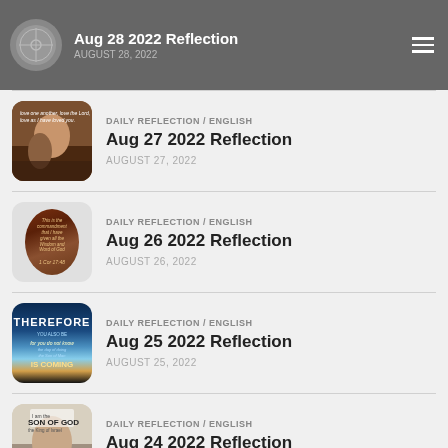Aug 28 2022 Reflection
DAILY REFLECTION / ENGLISH
Aug 27 2022 Reflection
AUGUST 27, 2022
DAILY REFLECTION / ENGLISH
Aug 26 2022 Reflection
AUGUST 26, 2022
DAILY REFLECTION / ENGLISH
Aug 25 2022 Reflection
AUGUST 25, 2022
DAILY REFLECTION / ENGLISH
Aug 24 2022 Reflection
AUGUST 24, 2022